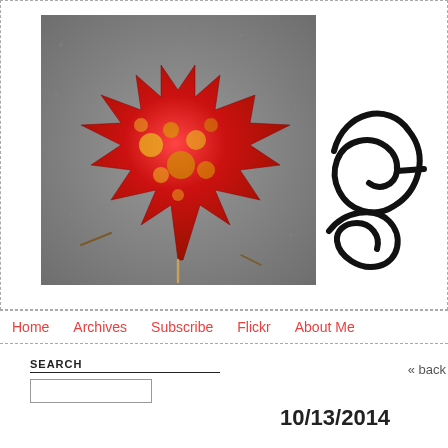[Figure (photo): A red maple leaf with yellow-orange veining lying on gray asphalt pavement, photographed from above with slightly desaturated background.]
[Figure (other): Partial cursive script text 'Ge' or similar, in black script/handwriting style, cropped at right edge.]
Home   Archives   Subscribe   Flickr   About Me
SEARCH
« back
10/13/2014